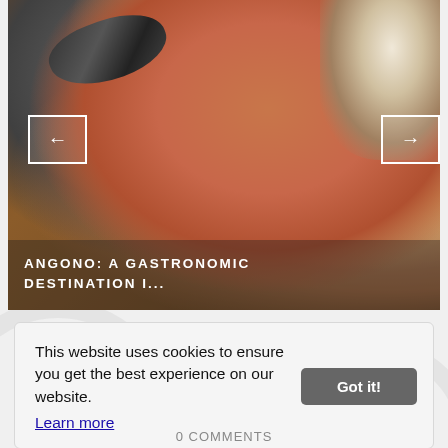[Figure (photo): Overhead photo of coffee/hot chocolate drinks in mugs with whipped cream and chocolate toppings on a wooden table, with a small decorative figurine and a dark stone with carved designs. Left and right navigation arrows overlaid on the image.]
ANGONO: A GASTRONOMIC DESTINATION I...
This website uses cookies to ensure you get the best experience on our website.
Learn more
0 COMMENTS